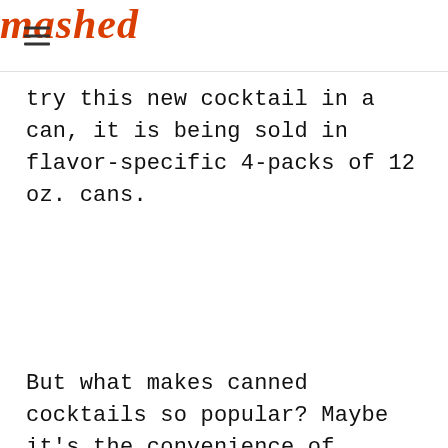mashed
try this new cocktail in a can, it is being sold in flavor-specific 4-packs of 12 oz. cans.
But what makes canned cocktails so popular? Maybe it's the convenience of having premixed